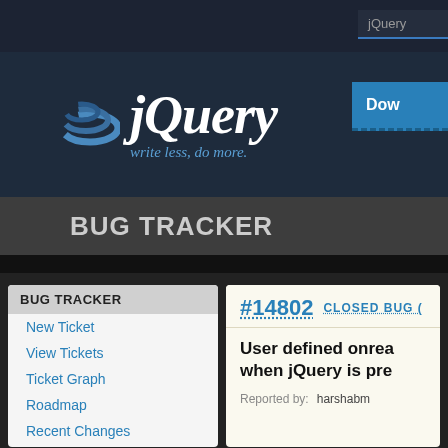[Figure (logo): jQuery logo with swoosh icon and tagline 'write less, do more.']
[Figure (screenshot): Download button (blue, truncated) in the top right of the header]
BUG TRACKER
BUG TRACKER
New Ticket
View Tickets
Ticket Graph
Roadmap
Recent Changes
TRACKER ACCOUNT
#14802   CLOSED BUG (
User defined onrea when jQuery is pre
Reported by:   harshabm